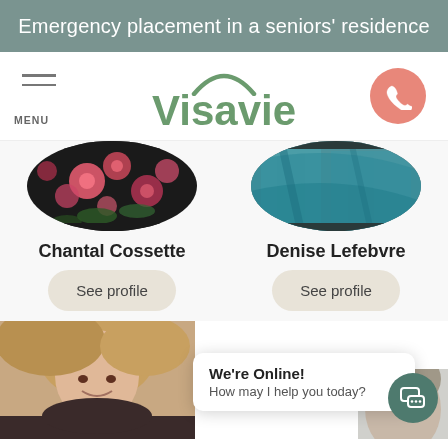Emergency placement in a seniors' residence
[Figure (logo): Visavie logo with green arch and text, navigation menu icon and phone call button]
[Figure (photo): Circular cropped photo of flowers (Chantal Cossette profile)]
Chantal Cossette
See profile
[Figure (photo): Circular cropped photo of teal fabric (Denise Lefebvre profile)]
Denise Lefebvre
See profile
[Figure (photo): Partial photo of a blonde woman smiling at bottom left]
[Figure (screenshot): Chat widget bubble saying We're Online! How may I help you today?]
We're Online!
How may I help you today?